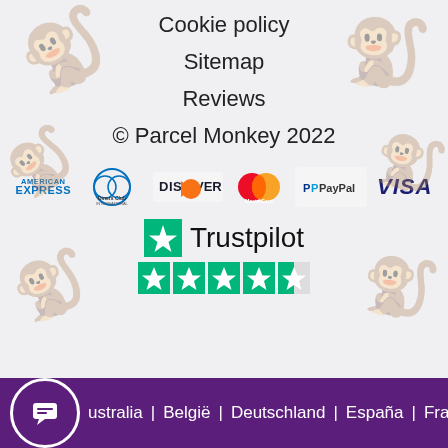Cookie policy
Sitemap
Reviews
© Parcel Monkey 2022
[Figure (logo): Payment method logos: American Express, Diners Club International, Discover, MasterCard, PayPal, Visa]
[Figure (logo): Trustpilot logo with 4.5 star rating shown as green star squares]
Australia | België | Deutschland | España | France |